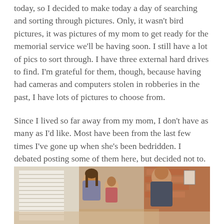today, so I decided to make today a day of searching and sorting through pictures. Only, it wasn't bird pictures, it was pictures of my mom to get ready for the memorial service we'll be having soon. I still have a lot of pics to sort through. I have three external hard drives to find. I'm grateful for them, though, because having had cameras and computers stolen in robberies in the past, I have lots of pictures to choose from.
Since I lived so far away from my mom, I don't have as many as I'd like. Most have been from the last few times I've gone up when she's been bedridden. I debated posting some of them here, but decided not to. Well, I may post a couple that I've made public elsewhere. These were pics taken at my mom's 90th birthday party this last June.
[Figure (photo): A photo taken at the mom's 90th birthday party showing people gathered around a table in a room with a brick wall and window blinds visible in the background.]